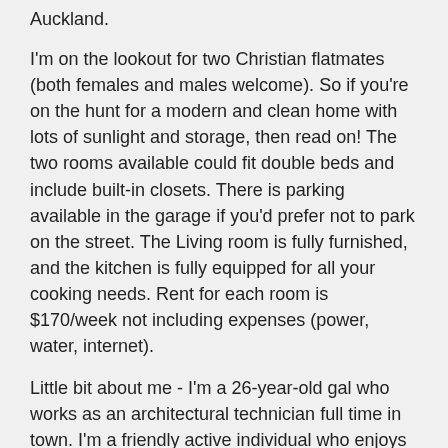Auckland.
I'm on the lookout for two Christian flatmates (both females and males welcome). So if you're on the hunt for a modern and clean home with lots of sunlight and storage, then read on! The two rooms available could fit double beds and include built-in closets. There is parking available in the garage if you'd prefer not to park on the street. The Living room is fully furnished, and the kitchen is fully equipped for all your cooking needs. Rent for each room is $170/week not including expenses (power, water, internet).
Little bit about me - I'm a 26-year-old gal who works as an architectural technician full time in town. I'm a friendly active individual who enjoys attending church and sleeping in/socializing in the weekends
[Figure (illustration): Two small emoji icons: a green leaf/image emoji and a smiley face emoji]
. The Sunnyvale train station is approx. 2 minutes drive from the house (15mins walk). Henderson mall and Kmart are also in close proximity. Ideal flatmates will be aged 20-30 years old, but this is not a must-have if you're the right fit! If you're thinking this